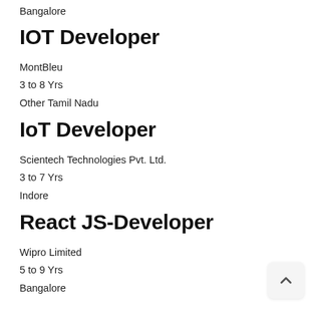Bangalore
IOT Developer
MontBleu
3 to 8 Yrs
Other Tamil Nadu
IoT Developer
Scientech Technologies Pvt. Ltd.
3 to 7 Yrs
Indore
React JS-Developer
Wipro Limited
5 to 9 Yrs
Bangalore